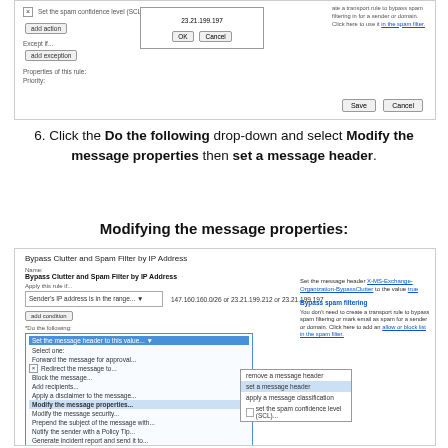[Figure (screenshot): Screenshot of email transport rule settings dialog showing add action, except if, properties of this rule fields, with an IP address entry dialog showing 23.21.199.197 and OK/Cancel buttons, and Save/Cancel buttons at bottom right]
6. Click the Do the following drop-down and select Modify the message properties then set a message header.
Modifying the message properties:
[Figure (screenshot): Screenshot of Exchange Admin Center transport rule 'Bypass Clutter and Spam Filter by IP Address' showing the Do the following dropdown expanded with 'Modify the message properties' highlighted and a sub-menu showing 'set a message header' highlighted in blue]